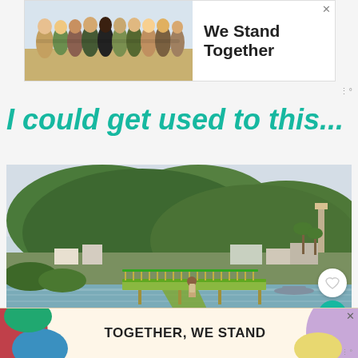[Figure (photo): Advertisement banner showing group of people standing together with text 'We Stand Together']
I could get used to this...
[Figure (photo): Scenic tropical travel photo showing a green hillside, a waterfront town, and a wooden pier/dock with a woman walking on it, water in foreground]
[Figure (photo): Advertisement banner at bottom with colorful design reading 'TOGETHER, WE STAND']